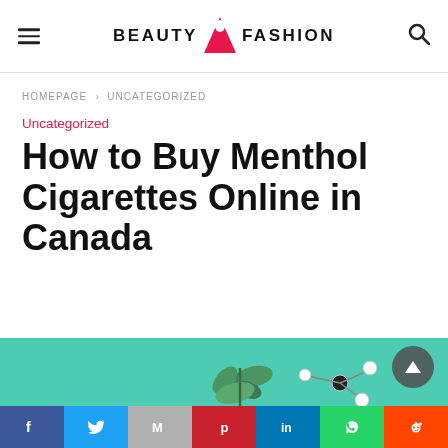BEAUTY FASHION
HOMEPAGE › UNCATEGORIZED
Uncategorized
How to Buy Menthol Cigarettes Online in Canada
[Figure (photo): Green/teal background with a plant sprig and molecular model structure]
Social sharing bar: Facebook, Twitter, Gmail, Pinterest, LinkedIn, WhatsApp, Reddit